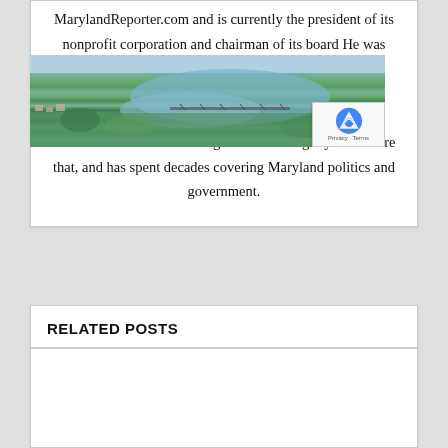MarylandReporter.com and is currently the president of its nonprofit corporation and chairman of its board He was formerly the State House bureau chief of the daily Baltimore Examiner from its start in April 2006 to its demise in February 2009. He was a copy editor on the national desk of the Washington Post for eight years before that, and has spent decades covering Maryland politics and government.
RELATED POSTS
[Figure (photo): Aerial photograph of a river or bay with bridges, forested shores, and a small waterfront town, likely in Maryland.]